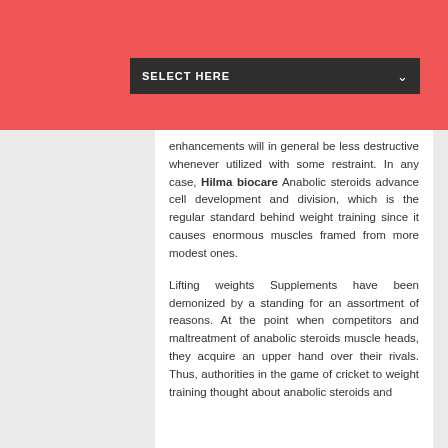[Figure (screenshot): Red header bar with a dark dropdown selector labeled SELECT HERE with a downward chevron arrow]
enhancements will in general be less destructive whenever utilized with some restraint. In any case, Hilma biocare Anabolic steroids advance cell development and division, which is the regular standard behind weight training since it causes enormous muscles framed from more modest ones.

Lifting weights Supplements have been demonized by a standing for an assortment of reasons. At the point when competitors and maltreatment of anabolic steroids muscle heads, they acquire an upper hand over their rivals. Thus, authorities in the game of cricket to weight training thought about anabolic steroids and